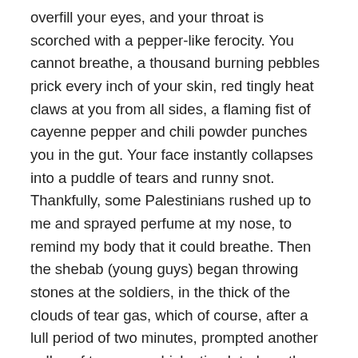overfill your eyes, and your throat is scorched with a pepper-like ferocity. You cannot breathe, a thousand burning pebbles prick every inch of your skin, red tingly heat claws at you from all sides, a flaming fist of cayenne pepper and chili powder punches you in the gut. Your face instantly collapses into a puddle of tears and runny snot. Thankfully, some Palestinians rushed up to me and sprayed perfume at my nose, to remind my body that it could breathe. Then the shebab (young guys) began throwing stones at the soldiers, in the thick of the clouds of tear gas, which of course, after a lull period of two minutes, prompted another volley of tear gas, which stimulated another mass run further down the road, which in turn inspired another round of stone throwing, which called forward another volley of tear gas in response….one part of my brain wanted to question 'why